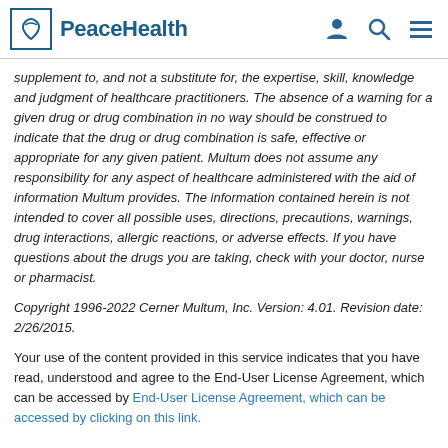PeaceHealth
supplement to, and not a substitute for, the expertise, skill, knowledge and judgment of healthcare practitioners. The absence of a warning for a given drug or drug combination in no way should be construed to indicate that the drug or drug combination is safe, effective or appropriate for any given patient. Multum does not assume any responsibility for any aspect of healthcare administered with the aid of information Multum provides. The information contained herein is not intended to cover all possible uses, directions, precautions, warnings, drug interactions, allergic reactions, or adverse effects. If you have questions about the drugs you are taking, check with your doctor, nurse or pharmacist.
Copyright 1996-2022 Cerner Multum, Inc. Version: 4.01. Revision date: 2/26/2015.
Your use of the content provided in this service indicates that you have read, understood and agree to the End-User License Agreement, which can be accessed by End-User License Agreement, which can be accessed by clicking on this link.